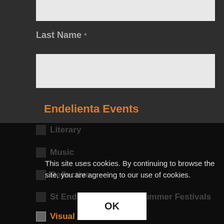[Figure (screenshot): Partial web form input field at top of page (cropped)]
Last Name *
[Figure (screenshot): Text input field for Last Name]
Endelienta Events
Literary
Music
Reflective
St Endellion Easter & Summer Festivals
Visual Art
This site uses cookies. By continuing to browse the site, you are agreeing to our use of cookies.
OK